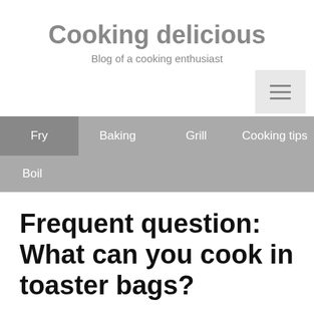Cooking delicious
Blog of a cooking enthusiast
Fry  Baking  Grill  Cooking tips  Boil
Frequent question: What can you cook in toaster bags?